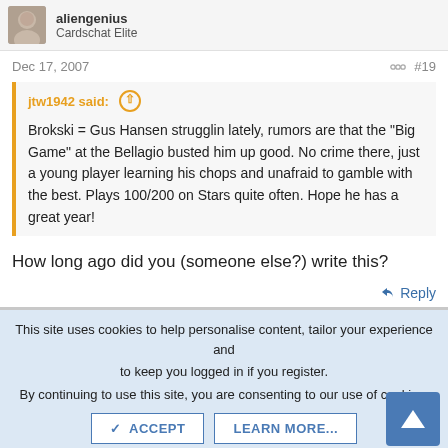aliengenius
Cardschat Elite
Dec 17, 2007
#19
jtw1942 said: ↑

Brokski = Gus Hansen strugglin lately, rumors are that the "Big Game" at the Bellagio busted him up good. No crime there, just a young player learning his chops and unafraid to gamble with the best. Plays 100/200 on Stars quite often. Hope he has a great year!
How long ago did you (someone else?) write this?
↩ Reply
This site uses cookies to help personalise content, tailor your experience and to keep you logged in if you register.
By continuing to use this site, you are consenting to our use of cookies.
✓ ACCEPT   LEARN MORE...